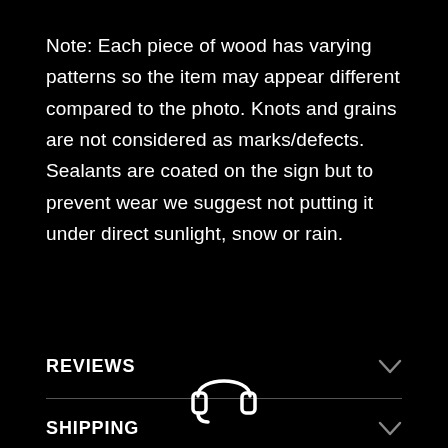Note: Each piece of wood has varying patterns so the item may appear different compared to the photo. Knots and grains are not considered as marks/defects. Sealants are coated on the sign but to prevent wear we suggest not putting it under direct sunlight, snow or rain.
REVIEWS
SHIPPING
[Figure (illustration): Headset/customer support icon in white outline style at the bottom center of the page]